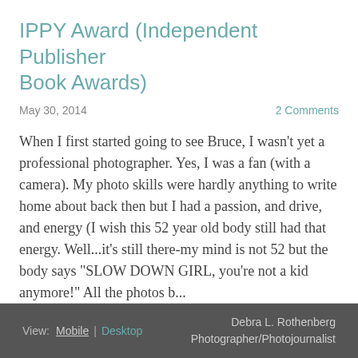IPPY Award (Independent Publisher Book Awards)
May 30, 2014
2 Comments
When I first started going to see Bruce, I wasn't yet a professional photographer. Yes, I was a fan (with a camera). My photo skills were hardly anything to write home about back then but I had a passion, and drive, and energy (I wish this 52 year old body still had that energy. Well...it's still there-my mind is not 52 but the body says "SLOW DOWN GIRL, you're not a kid anymore!" All the photos b...
Read the Full Post »
View: Mobile | Desktop
Debra L. Rothenberg Photographer/Photojournalist